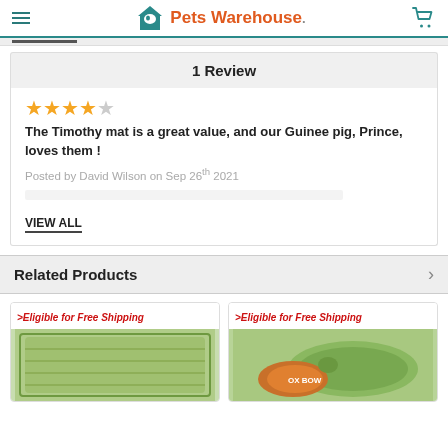Pets Warehouse
1 Review
★★★★☆
The Timothy mat is a great value, and our Guinee pig, Prince, loves them !
Posted by David Wilson on Sep 26th 2021
VIEW ALL
Related Products
>Eligible for Free Shipping
>Eligible for Free Shipping